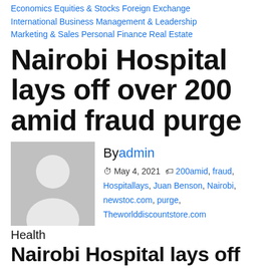Economics Equities & Stocks Foreign Exchange International Business Management & Leadership Marketing & Sales Personal Finance Real Estate
Nairobi Hospital lays off over 200 amid fraud purge
By admin
May 4, 2021  200amid, fraud, Hospitallays, Juan Benson, Nairobi, newstoc.com, purge, Theworlddiscountstore.com
Health
Nairobi Hospital lays off over 200 amid fraud purge